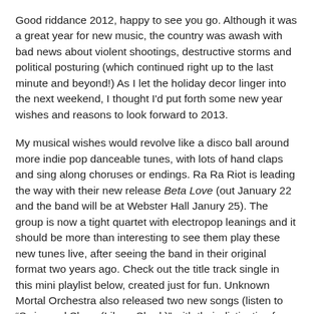Good riddance 2012, happy to see you go. Although it was a great year for new music, the country was awash with bad news about violent shootings, destructive storms and political posturing (which continued right up to the last minute and beyond!) As I let the holiday decor linger into the next weekend, I thought I'd put forth some new year wishes and reasons to look forward to 2013.
My musical wishes would revolve like a disco ball around more indie pop danceable tunes, with lots of hand claps and sing along choruses or endings. Ra Ra Riot is leading the way with their new release Beta Love (out January 22 and the band will be at Webster Hall Janury 25). The group is now a tight quartet with electropop leanings and it should be more than interesting to see them play these new tunes live, after seeing the band in their original format two years ago. Check out the title track single in this mini playlist below, created just for fun. Unknown Mortal Orchestra also released two new songs (listen to "Swim and Sleep (Like a Shark)" with their distinctive fuzzy groove). This band was one of my Top Concert Experiences of 2012 and I'm eager to see the trio when they take the stage at a larger venue, the